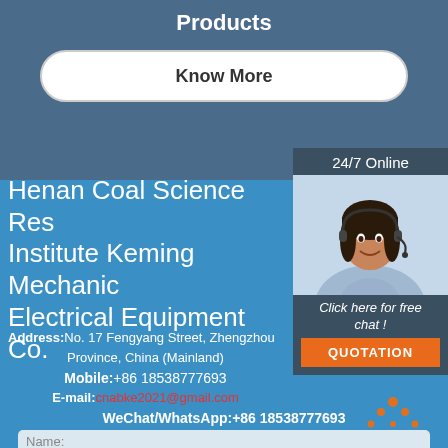Products
Know More
Henan Coal Science Research Institute Keming Mechanical Electrical Equipment Co.
Address: No. 17 Fengyang Street, Zhengzhou, Province, China (Mainland)
Mobile: +86 18538777693
E-mail: cnabke2021@gmail.com
WeChat/WhatsApp: +86 18538777693
24/7 Online
[Figure (photo): Customer service agent with headset smiling]
Click here for free chat !
QUOTATION
Get Solutions & Quotation
[Figure (logo): TOP logo with orange dots]
Name: